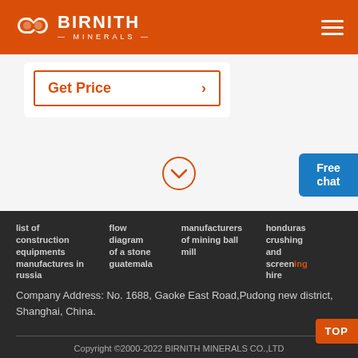BIRNITH MINERALS
[Figure (logo): Birnith Minerals logo with hexagonal icon and brand name on orange header bar]
Get Price
[Figure (other): Orange outlined chevron-down circle icon]
Free chat
list of construction equipments manufactures in russia
flow diagram of a stone guatemala
manufacturers of mining ball mill
honduras crushing and screening hire
Company Address: No. 1688, Gaoke East Road,Pudong new district, Shanghai, China.
Copyright ©2000-2022 BIRNITH MINERALS CO.,LTD